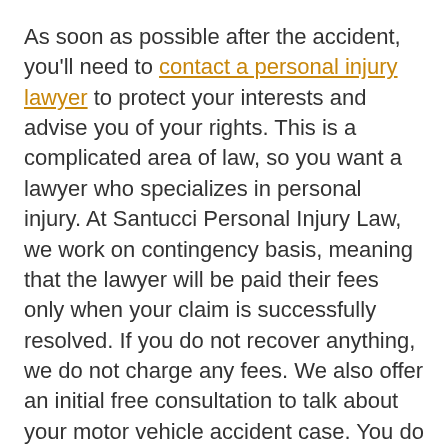As soon as possible after the accident, you'll need to contact a personal injury lawyer to protect your interests and advise you of your rights. This is a complicated area of law, so you want a lawyer who specializes in personal injury. At Santucci Personal Injury Law, we work on contingency basis, meaning that the lawyer will be paid their fees only when your claim is successfully resolved. If you do not recover anything, we do not charge any fees. We also offer an initial free consultation to talk about your motor vehicle accident case. You do not have to provide a retainer or pay fees on an hourly basis.
13. Keep your private